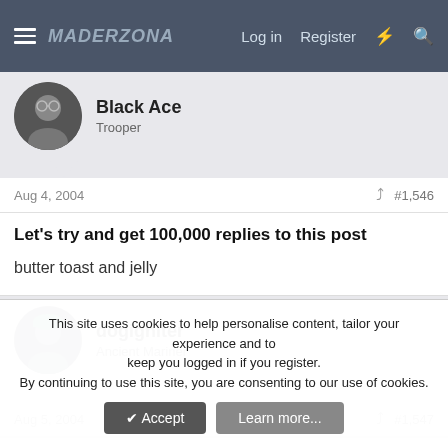MADERZONA | Log in | Register
Black Ace
Trooper
Aug 4, 2004   #1,546
Let's try and get 100,000 replies to this post
butter toast and jelly
dogigniter
Ancient Mariner
Aug 5, 2004   #1,547
This site uses cookies to help personalise content, tailor your experience and to keep you logged in if you register.
By continuing to use this site, you are consenting to our use of cookies.